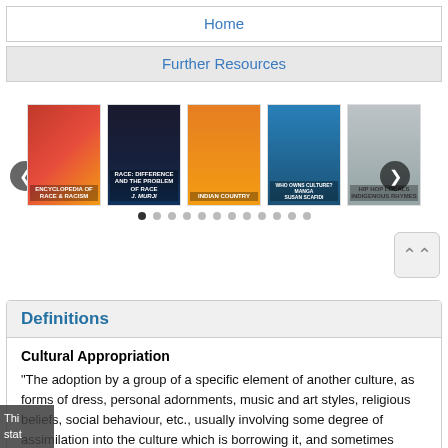Home
Further Resources
[Figure (other): A carousel of book covers including 'Race & Racism', 'Race: Difference and the Problem of Race', 'Indian Country', 'Who Owns Culture? MANGA', 'Hip Hop Locals Indigenous Rhymes'. Navigation arrows on left and right, and pagination dots below.]
Definitions
Cultural Appropriation
"The adoption by a group of a specific element of another culture, as forms of dress, personal adornments, music and art styles, religious beliefs, social behaviour, etc., usually involving some degree of assimilation into the culture which is borrowing it, and sometimes viewed negatively by the group from which the appropriation is made" ("Cultural